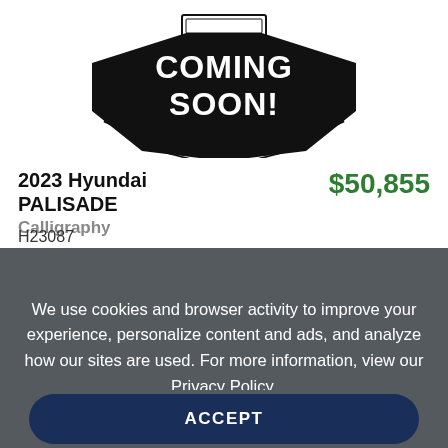[Figure (illustration): Coming Soon! badge with bold text on black banner shape with circular border elements]
2023 Hyundai PALISADE
Calligraphy
$50,855
H23087
We use cookies and browser activity to improve your experience, personalize content and ads, and analyze how our sites are used. For more information, view our Privacy Policy.
ACCEPT